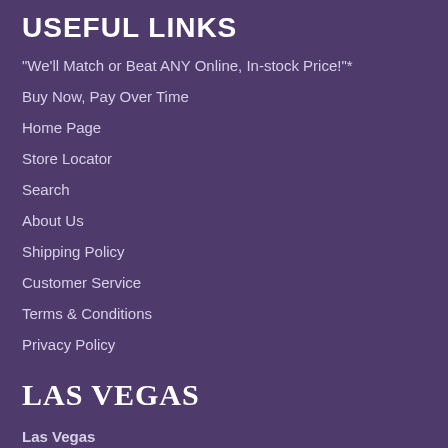USEFUL LINKS
"We'll Match or Beat ANY Online, In-stock Price!"*
Buy Now, Pay Over Time
Home Page
Store Locator
Search
About Us
Shipping Policy
Customer Service
Terms & Conditions
Privacy Policy
LAS VEGAS
Las Vegas
3616 N. Rancho Dr.